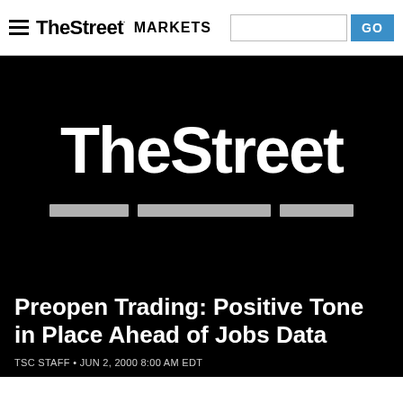TheStreet MARKETS
[Figure (logo): TheStreet logo in white text on black background, with three decorative horizontal gray divider bars below]
Preopen Trading: Positive Tone in Place Ahead of Jobs Data
TSC STAFF • JUN 2, 2000 8:00 AM EDT